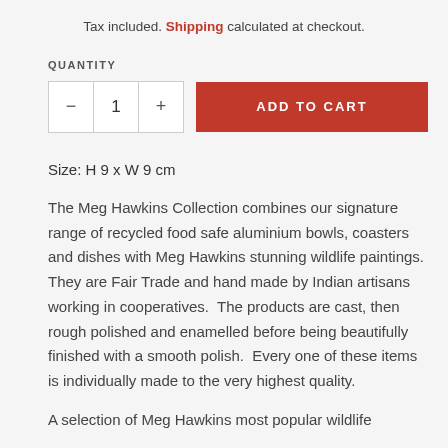Tax included. Shipping calculated at checkout.
QUANTITY
− 1 +   ADD TO CART
Size: H 9 x W 9 cm
The Meg Hawkins Collection combines our signature range of recycled food safe aluminium bowls, coasters and dishes with Meg Hawkins stunning wildlife paintings. They are Fair Trade and hand made by Indian artisans working in cooperatives.  The products are cast, then rough polished and enamelled before being beautifully finished with a smooth polish.  Every one of these items is individually made to the very highest quality.
A selection of Meg Hawkins most popular wildlife...